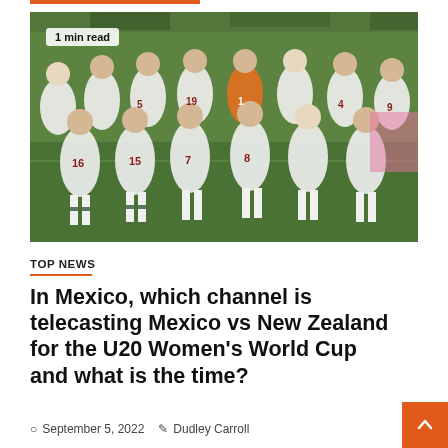[Figure (photo): Group photo of Mexico women's U20 national soccer team in white uniforms posing on a green soccer field. Players wearing numbered jerseys including 16, 15, 7, 8, 19, 1, 4, 9. Goalkeeper in orange jersey. Badge reads '1 min read' in top-left corner.]
TOP NEWS
In Mexico, which channel is telecasting Mexico vs New Zealand for the U20 Women's World Cup and what is the time?
September 5, 2022   Dudley Carroll